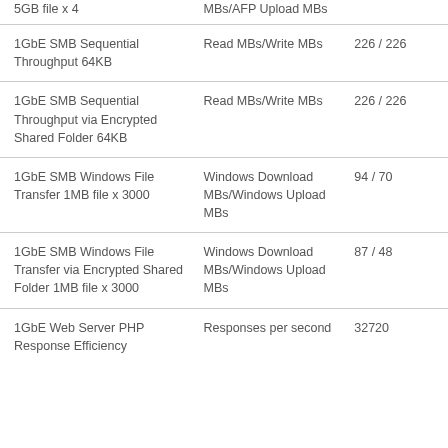| Test | Metric | Result |
| --- | --- | --- |
| 1GbE SMB Sequential Throughput 64KB | Read MBs/Write MBs | 226 / 226 |
| 1GbE SMB Sequential Throughput via Encrypted Shared Folder 64KB | Read MBs/Write MBs | 226 / 226 |
| 1GbE SMB Windows File Transfer 1MB file x 3000 | Windows Download MBs/Windows Upload MBs | 94 / 70 |
| 1GbE SMB Windows File Transfer via Encrypted Shared Folder 1MB file x 3000 | Windows Download MBs/Windows Upload MBs | 87 / 48 |
| 1GbE Web Server PHP Response Efficiency | Responses per second | 32720 |